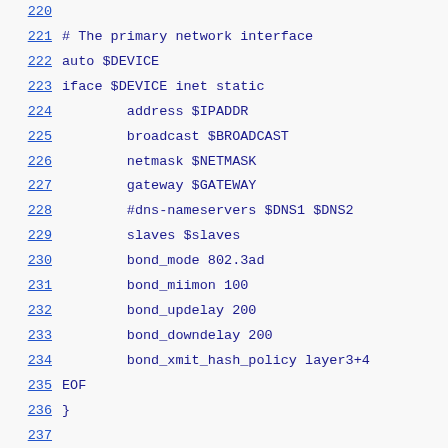220
221 # The primary network interface
222 auto $DEVICE
223 iface $DEVICE inet static
224     address $IPADDR
225     broadcast $BROADCAST
226     netmask $NETMASK
227     gateway $GATEWAY
228     #dns-nameservers $DNS1 $DNS2
229     slaves $slaves
230     bond_mode 802.3ad
231     bond_miimon 100
232     bond_updelay 200
233     bond_downdelay 200
234     bond_xmit_hash_policy layer3+4
235 EOF
236 }
237